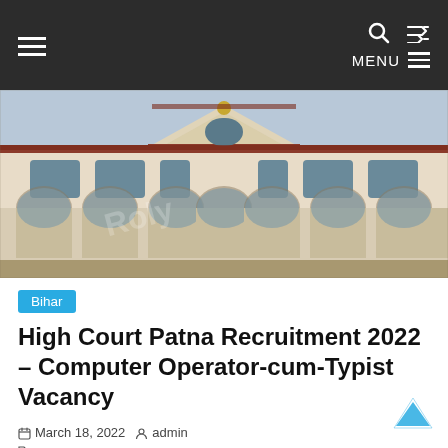≡   MENU ≡   🔍  ⇌
[Figure (photo): Photograph of Patna High Court building exterior — a large white colonial-era courthouse with arched colonnades, ornate central pediment, and red roof. A watermark is visible on the image.]
Bihar
High Court Patna Recruitment 2022 – Computer Operator-cum-Typist Vacancy
March 18, 2022   admin   High Court Patna, Computer Operator-cum-Typist (Group C Posts), Computer Operator-cum-Typist, Computer Oper